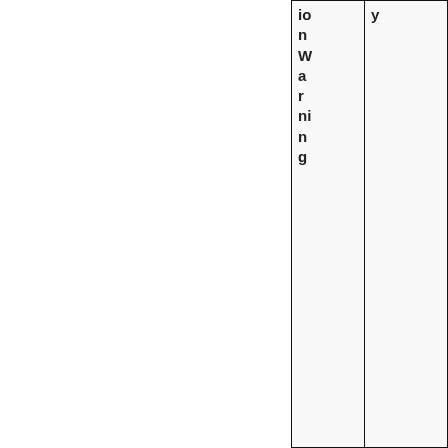| ion Warning | y |
| --- | --- |
|  |  |
|  |  |
|  |  |
|  |  |
|  |  |